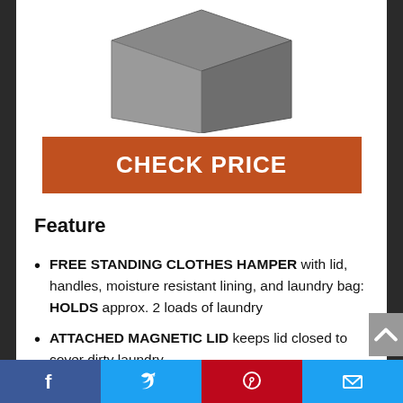[Figure (photo): Gray fabric storage cube/hamper with lid, photographed from above at an angle against a white background.]
CHECK PRICE
Feature
FREE STANDING CLOTHES HAMPER with lid, handles, moisture resistant lining, and laundry bag: HOLDS approx. 2 loads of laundry
ATTACHED MAGNETIC LID keeps lid closed to cover dirty laundry